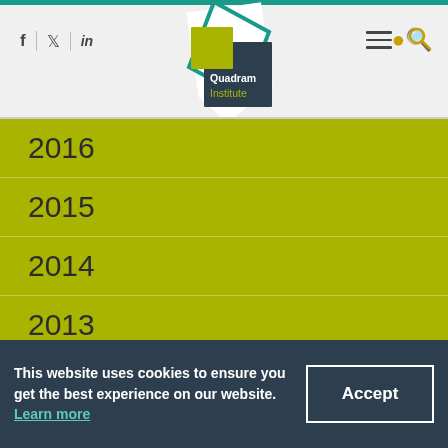[Figure (logo): Quadram Institute logo — geometric teal and dark navy square shapes with yellow-green square accent, text 'Quadram Institute']
2016
2015
2014
2013
× 2012
2011
This website uses cookies to ensure you get the best experience on our website. Learn more
Accept